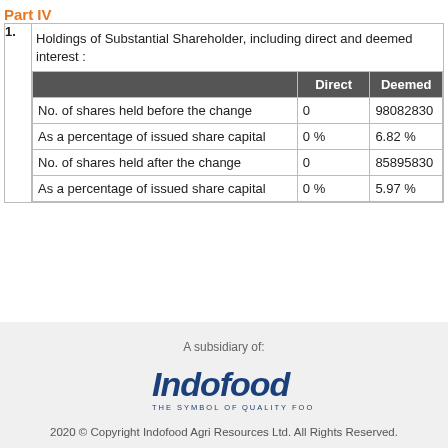Part IV
|  | Direct | Deemed |
| --- | --- | --- |
| Holdings of Substantial Shareholder, including direct and deemed interest : |  |  |
| No. of shares held before the change | 0 | 98082830 |
| As a percentage of issued share capital | 0 % | 6.82 % |
| No. of shares held after the change | 0 | 85895830 |
| As a percentage of issued share capital | 0 % | 5.97 % |
[Figure (logo): Indofood logo with tagline THE SYMBOL OF QUALITY FOODS]
A subsidiary of:
2020 © Copyright Indofood Agri Resources Ltd. All Rights Reserved.